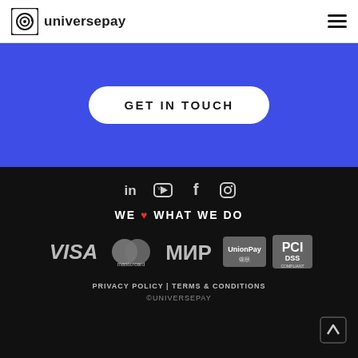universepay
[Figure (logo): Universepay logo with spiral icon and wordmark]
GET IN TOUCH
[Figure (infographic): Social media icons: LinkedIn, YouTube, Facebook, Instagram]
WE ❤ WHAT WE DO
[Figure (logo): Payment logos: VISA, Mastercard, MIR, UnionPay, PCI DSS Compliant]
PRIVACY POLICY | TERMS & CONDITIONS
©UNIVERSEPAY